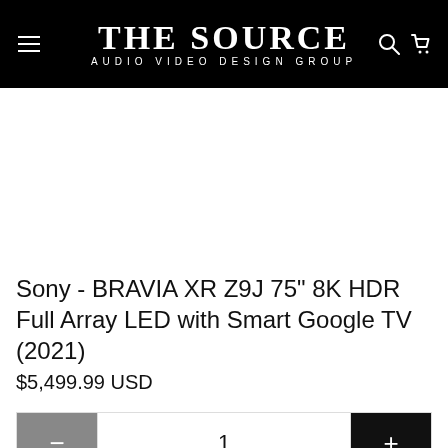THE SOURCE AUDIO VIDEO DESIGN GROUP
[Figure (other): Product image area — blank white space where a product photo would appear]
Sony - BRAVIA XR Z9J 75" 8K HDR Full Array LED with Smart Google TV (2021)
$5,499.99 USD